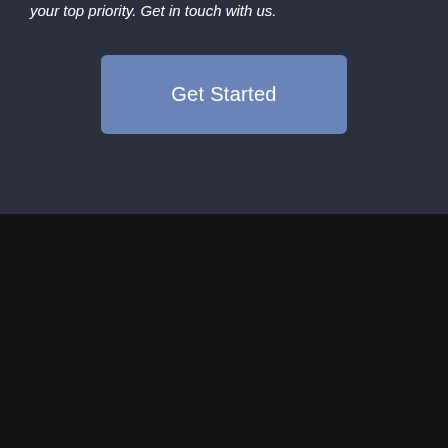your top priority. Get in touch with us.
[Figure (other): Get Started button with blue background]
[Figure (logo): TeamSecure shield logo with text TeamSecure]
We are a family-owned cyber security company based in Geneva, Switzerland. We provide Enterprise-grade Cyber Security services, Cyber Security specialists and experts